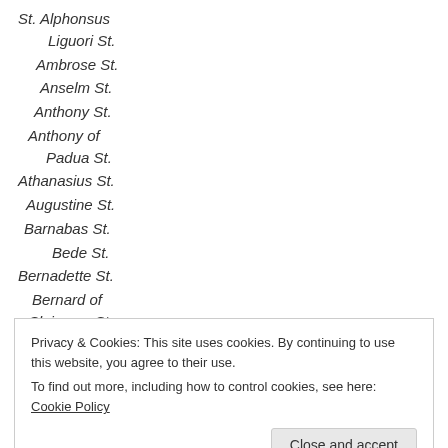St. Alphonsus Liguori St.
Ambrose St.
Anselm St.
Anthony St.
Anthony of Padua St.
Athanasius St.
Augustine St.
Barnabas St.
Bede St.
Bernadette St.
Bernard of Clairvaux St.
Bern, Police,
Privacy & Cookies: This site uses cookies. By continuing to use this website, you agree to their use.
To find out more, including how to control cookies, see here: Cookie Policy